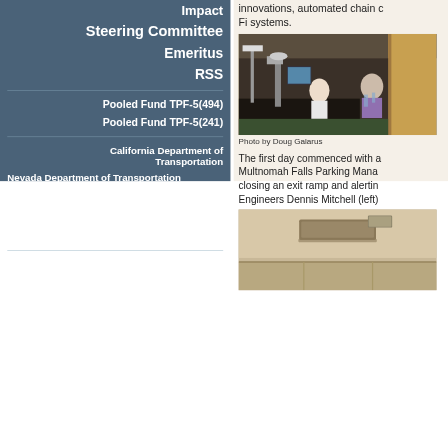Impact
Steering Committee
Emeritus
RSS
Pooled Fund TPF-5(494)
Pooled Fund TPF-5(241)
California Department of Transportation
Nevada Department of Transportation
Oregon Department of Transportation
Utah Department of Transportation
Washington State Department of Transportation
Montana Tech
Western Transportation Institute at Montana State University
innovations, automated chain c... Fi systems.
[Figure (photo): People seated at tables in a conference room with camera equipment and monitors visible.]
Photo by Doug Galarus
The first day commenced with a... Multnomah Falls Parking Mana... closing an exit ramp and alertin... Engineers Dennis Mitchell (left)
[Figure (photo): Close-up of a ceiling-mounted device or sensor in an indoor room setting.]